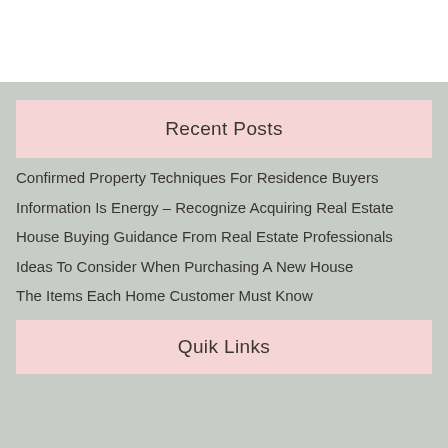Recent Posts
Confirmed Property Techniques For Residence Buyers
Information Is Energy – Recognize Acquiring Real Estate
House Buying Guidance From Real Estate Professionals
Ideas To Consider When Purchasing A New House
The Items Each Home Customer Must Know
Quik Links